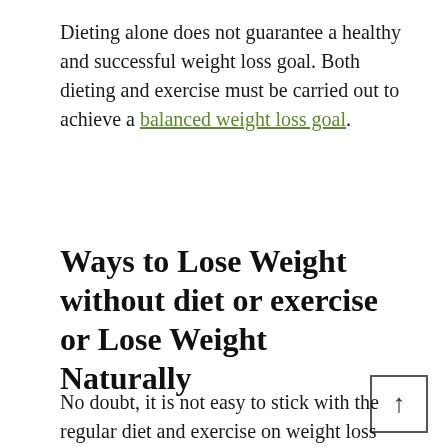Dieting alone does not guarantee a healthy and successful weight loss goal. Both dieting and exercise must be carried out to achieve a balanced weight loss goal.
Ways to Lose Weight without diet or exercise or Lose Weight Naturally
No doubt, it is not easy to stick with the regular diet and exercise on weight loss strategy.